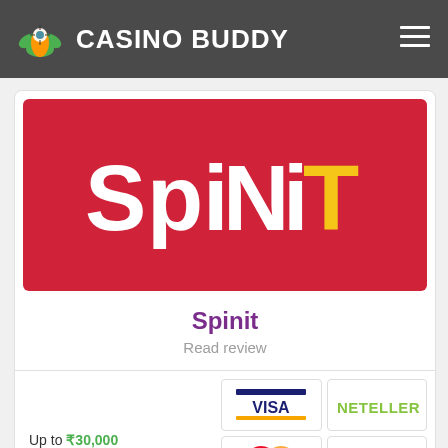Casino Buddy
[Figure (logo): Spinit casino banner with red background and Spinit logo in white and yellow text]
Spinit
Read review
Up to ₹30,000 Welcome Bonus
[Figure (illustration): Payment method icons: VISA, NETELLER, MasterCard, Skrill]